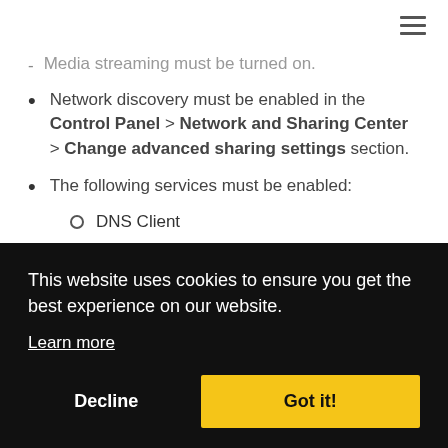- Media streaming must be turned on.
Network discovery must be enabled in the Control Panel > Network and Sharing Center > Change advanced sharing settings section.
The following services must be enabled:
DNS Client
This website uses cookies to ensure you get the best experience on our website.
Learn more
Decline
Got it!